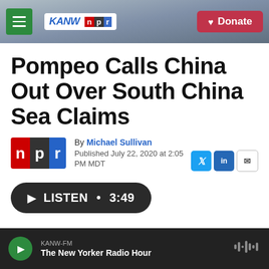KANW NPR | Donate
Pompeo Calls China Out Over South China Sea Claims
By Michael Sullivan
Published July 22, 2020 at 2:05 PM MDT
LISTEN • 3:49
KANW-FM
The New Yorker Radio Hour